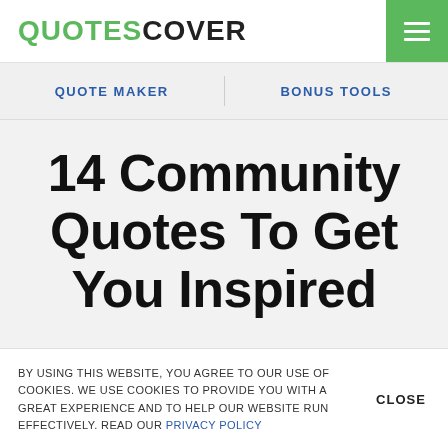QUOTESCOVER
QUOTE MAKER   BONUS TOOLS
14 Community Quotes To Get You Inspired
BY USING THIS WEBSITE, YOU AGREE TO OUR USE OF COOKIES. WE USE COOKIES TO PROVIDE YOU WITH A GREAT EXPERIENCE AND TO HELP OUR WEBSITE RUN EFFECTIVELY. READ OUR PRIVACY POLICY   CLOSE